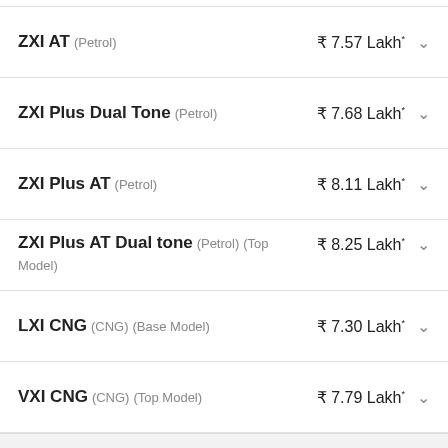ZXI AT (Petrol) ₹ 7.57 Lakh*
ZXI Plus Dual Tone (Petrol) ₹ 7.68 Lakh*
ZXI Plus AT (Petrol) ₹ 8.11 Lakh*
ZXI Plus AT Dual tone (Petrol) (Top Model) ₹ 8.25 Lakh*
LXI CNG (CNG) (Base Model) ₹ 7.30 Lakh*
VXI CNG (CNG) (Top Model) ₹ 7.79 Lakh*
*Estimated price via verified sources